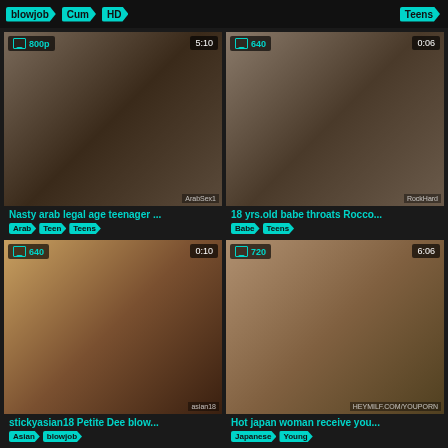blowjob  Cum  HD  Teens
[Figure (screenshot): Video thumbnail - arab scene, 800p, 5:10 duration, watermark ArabSex1]
Nasty arab legal age teenager ...
Arab  Teen  Teens
[Figure (screenshot): Video thumbnail - 640p, 0:06 duration, watermark RockHard]
18 yrs.old babe throats Rocco...
Babe  Teens
[Figure (screenshot): Video thumbnail - 640p, 0:10 duration, watermark asian18]
stickyasian18 Petite Dee blow...
Asian  blowjob
[Figure (screenshot): Video thumbnail - 720p, 6:06 duration, watermark HEYMILF.COM/YOUPORN]
Hot japan woman receive you...
Japanese  Young